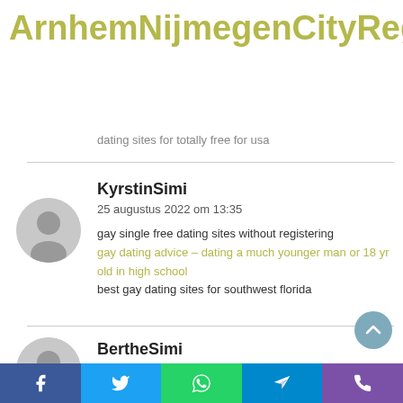ArnhemNijmegenCityReg
dating sites for totally free for usa
KyrstinSimi
25 augustus 2022 om 13:35
gay single free dating sites without registering
gay dating advice – dating a much younger man or 18 yr old in high school
best gay dating sites for southwest florida
BertheSimi
26 augustus 2022 om 02:47